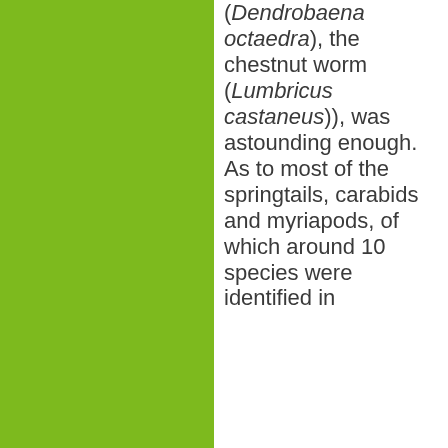(Dendrobaena octaedra), the chestnut worm (Lumbricus castaneus)), was astounding enough. As to most of the springtails, carabids and myriapods, of which around 10 species were identified in